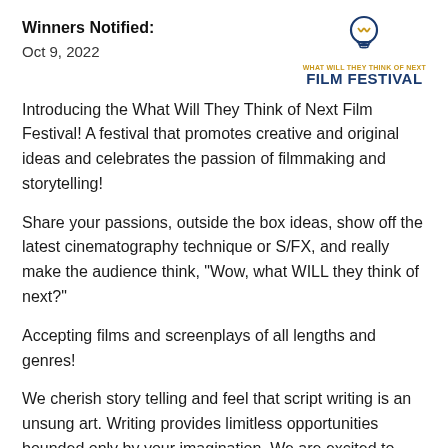Winners Notified:
Oct 9, 2022
[Figure (logo): What Will They Think of Next Film Festival logo — lightbulb icon above text reading FILM FESTIVAL]
Introducing the What Will They Think of Next Film Festival! A festival that promotes creative and original ideas and celebrates the passion of filmmaking and storytelling!
Share your passions, outside the box ideas, show off the latest cinematography technique or S/FX, and really make the audience think, "Wow, what WILL they think of next?"
Accepting films and screenplays of all lengths and genres!
We cherish story telling and feel that script writing is an unsung art. Writing provides limitless opportunities bounded only by your imagination. We are excited to read ...More (+)